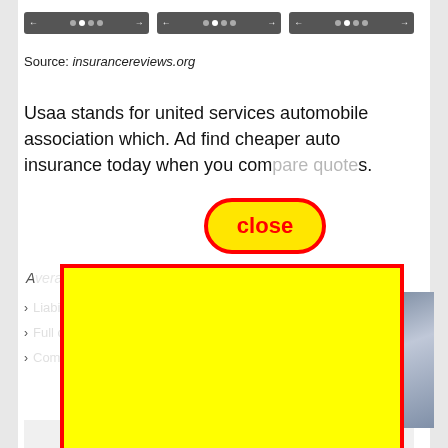[Figure (screenshot): Three pagination navigation bars at the top of the page, each showing arrow controls and dot indicators on a dark background]
Source: insurancereviews.org
Usaa stands for united services automobile association which. Ad find cheaper auto insurance today when you com...s.
[Figure (other): Red-bordered close button with yellow background showing the word 'close' in red bold text]
[Figure (other): Large yellow advertisement overlay box with red border covering the lower portion of the page content]
[Figure (photo): Partial photo of a person in a car, visible on the right side behind the ad overlay]